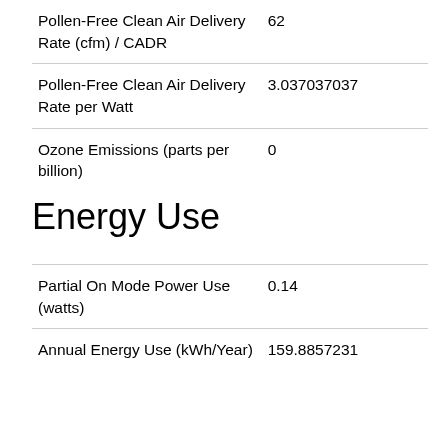| Attribute | Value |
| --- | --- |
| Pollen-Free Clean Air Delivery Rate (cfm) / CADR | 62 |
| Pollen-Free Clean Air Delivery Rate per Watt | 3.037037037 |
| Ozone Emissions (parts per billion) | 0 |
Energy Use
| Attribute | Value |
| --- | --- |
| Partial On Mode Power Use (watts) | 0.14 |
| Annual Energy Use (kWh/Year) | 159.8857231 |